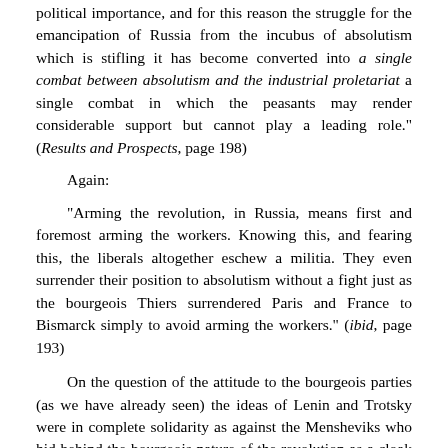political importance, and for this reason the struggle for the emancipation of Russia from the incubus of absolutism which is stifling it has become converted into a single combat between absolutism and the industrial proletariat a single combat in which the peasants may render considerable support but cannot play a leading role." (Results and Prospects, page 198)
Again:
"Arming the revolution, in Russia, means first and foremost arming the workers. Knowing this, and fearing this, the liberals altogether eschew a militia. They even surrender their position to absolutism without a fight just as the bourgeois Thiers surrendered Paris and France to Bismarck simply to avoid arming the workers." (ibid, page 193)
On the question of the attitude to the bourgeois parties (as we have already seen) the ideas of Lenin and Trotsky were in complete solidarity as against the Mensheviks who hid behind the bourgeois nature of the revolution as a cloak for the subordination of the workers' party to the bourgeoisie. Arguing against class collaboration, both Lenin and Trotsky explained that only the